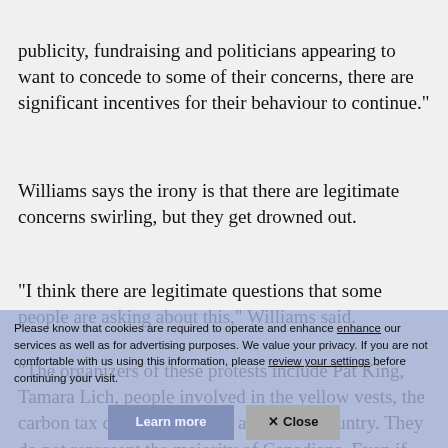publicity, fundraising and politicians appearing to want to concede to some of their concerns, there are significant incentives for their behaviour to continue."
Williams says the irony is that there are legitimate concerns swirling, but they get drowned out.
"I think there are legitimate questions that some people are asking about this," Williams said.
"The organizers of these protests include Pat King, Tamara Lich, people involved in the yellow vests, the carbon tax convoy that went across the country. They do not represent the majority of Canadians. Even if there is sympathy amongst many Canadians or Albertans to their general frustration, they are causing
Please know that cookies are required to operate and enhance our services as well as for advertising purposes. We value your privacy. If you are not comfortable with us using this information, please review your settings before continuing your visit.